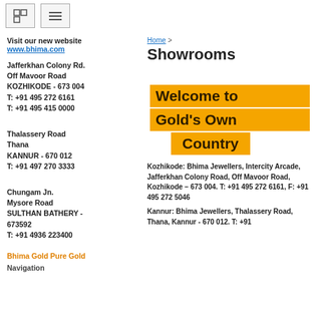[icon] [menu icon]
Visit our new website
www.bhima.com
Jafferkhan Colony Rd.
Off Mavoor Road
KOZHIKODE - 673 004
T: +91 495 272 6161
T: +91 495 415 0000
Thalassery Road
Thana
KANNUR - 670 012
T: +91 497 270 3333
Chungam Jn.
Mysore Road
SULTHAN BATHERY - 673592
T: +91 4936 223400
Bhima Gold Pure Gold
Navigation
Home >
Showrooms
[Figure (infographic): Orange banner reading 'Welcome to Gold's Own Country']
Kozhikode: Bhima Jewellers, Intercity Arcade, Jafferkhan Colony Road, Off Mavoor Road, Kozhikode – 673 004. T: +91 495 272 6161, F: +91 495 272 5046
Kannur: Bhima Jewellers, Thalassery Road, Thana, Kannur - 670 012. T: +91